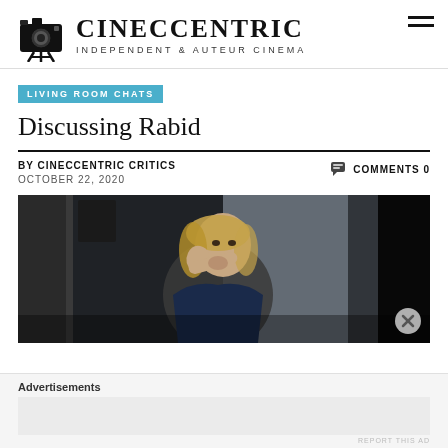CINECCENTRIC - INDEPENDENT & AUTEUR CINEMA
LIVING ROOM CHATS
Discussing Rabid
BY CINECCENTRIC CRITICS   COMMENTS 0
OCTOBER 22, 2020
[Figure (photo): A woman with blonde hair covering her mouth with her arm, dark cinematic scene from the film Rabid]
Advertisements